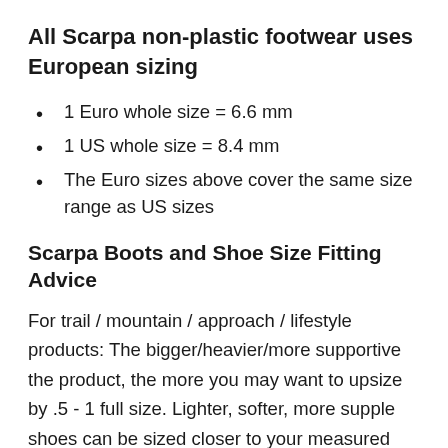All Scarpa non-plastic footwear uses European sizing
1 Euro whole size = 6.6 mm
1 US whole size = 8.4 mm
The Euro sizes above cover the same size range as US sizes
Scarpa Boots and Shoe Size Fitting Advice
For trail / mountain / approach / lifestyle products: The bigger/heavier/more supportive the product, the more you may want to upsize by .5 - 1 full size. Lighter, softer, more supple shoes can be sized closer to your measured size. Note: SCARPA Plastic mountain boots all use UK